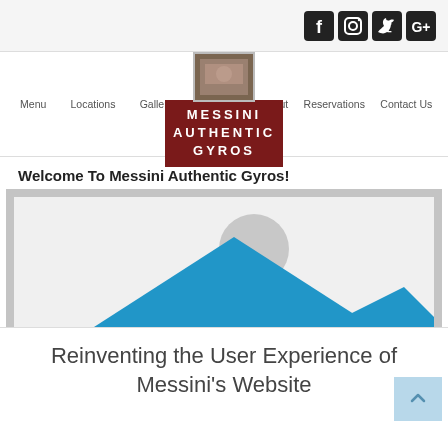[Figure (screenshot): Website screenshot of Messini Authentic Gyros restaurant website showing navigation header with social media icons, logo, nav links, welcome text, placeholder image, and article title]
Messini Authentic Gyros - social icons: Facebook, Instagram, Twitter, Google+
[Figure (logo): Messini Authentic Gyros logo - dark red box with white Greek-style lettering]
Menu   Locations   Gallery   About   Reservations   Contact Us
Welcome To Messini Authentic Gyros!
[Figure (photo): Placeholder image with grey background, white center area with blue mountain/triangle shapes and grey circle]
Reinventing the User Experience of Messini's Website